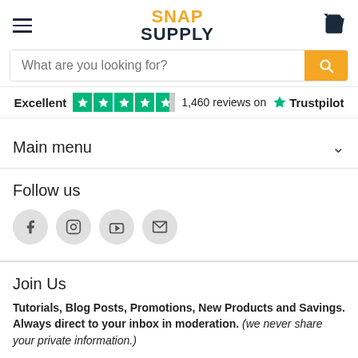SNAP SUPPLY
What are you looking for?
Excellent  1,460 reviews on  Trustpilot
Main menu
Follow us
Join Us
Tutorials, Blog Posts, Promotions, New Products and Savings. Always direct to your inbox in moderation. (we never share your private information.)